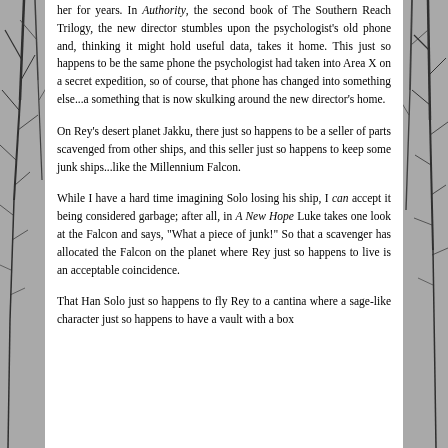her for years. In Authority, the second book of The Southern Reach Trilogy, the new director stumbles upon the psychologist's old phone and, thinking it might hold useful data, takes it home. This just so happens to be the same phone the psychologist had taken into Area X on a secret expedition, so of course, that phone has changed into something else...a something that is now skulking around the new director's home.
On Rey's desert planet Jakku, there just so happens to be a seller of parts scavenged from other ships, and this seller just so happens to keep some junk ships...like the Millennium Falcon.
While I have a hard time imagining Solo losing his ship, I can accept it being considered garbage; after all, in A New Hope Luke takes one look at the Falcon and says, "What a piece of junk!" So that a scavenger has allocated the Falcon on the planet where Rey just so happens to live is an acceptable coincidence.
That Han Solo just so happens to fly Rey to a cantina where a sage-like character just so happens to have a vault with a box